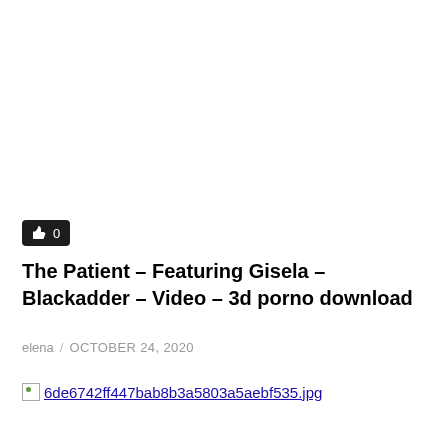[Figure (other): Like/thumbs-up button with count 0, dark background]
The Patient – Featuring Gisela – Blackadder – Video – 3d porno download
elena / OCTOBER 24, 2020
6de6742ff447bab8b3a5803a5aebf535.jpg